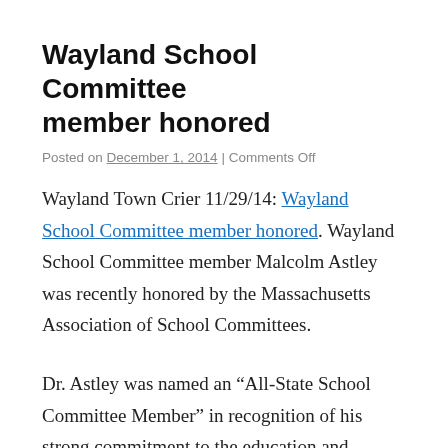Wayland School Committee member honored
Posted on December 1, 2014 | Comments Off
Wayland Town Crier 11/29/14: Wayland School Committee member honored. Wayland School Committee member Malcolm Astley was recently honored by the Massachusetts Association of School Committees.
Dr. Astley was named an “All-State School Committee Member” in recognition of his strong commitment to the education and welfare of children and for his clear understanding of his role as a